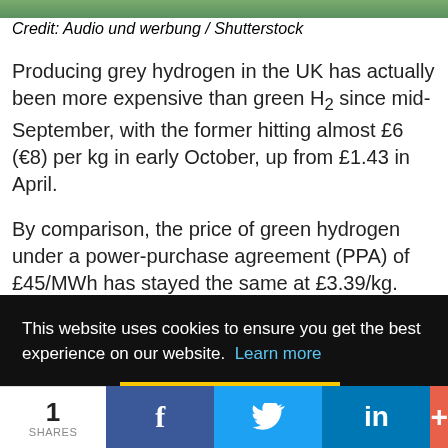[Figure (photo): Top photo strip showing green landscape/nature]
Credit: Audio und werbung / Shutterstock
Producing grey hydrogen in the UK has actually been more expensive than green H₂ since mid-September, with the former hitting almost £6 (€8) per kg in early October, up from £1.43 in April.
By comparison, the price of green hydrogen under a power-purchase agreement (PPA) of £45/MWh has stayed the same at £3.39/kg. Last week, the price of
This website uses cookies to ensure you get the best experience on our website.  Learn more
Got it!
et
1
SHARES
f
🐦
in
+